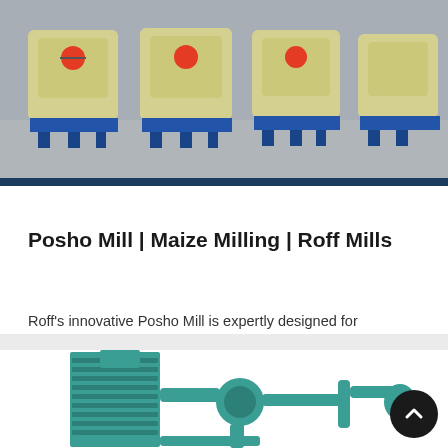[Figure (photo): Row of cream/beige colored posho mill machines with blue bases in an industrial warehouse setting]
Posho Mill | Maize Milling | Roff Mills
Roff’s innovative Posho Mill is expertly designed for successful service or community milling. Join the ranks of entrepreneurs providing an invaluable service to their local…
[Figure (photo): Teal/green colored industrial grain milling machine with large rectangular filter box on the left and cylindrical pipes and components on a white background]